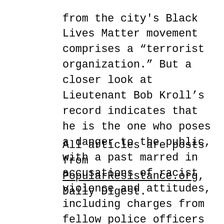from the city's Black Lives Matter movement comprises a “terrorist organization.” But a closer look at Lieutenant Bob Kroll’s record indicates that he is the one who poses a danger to the public, with a past marred in accusations of racist violence and attitudes, including charges from fellow police officers that he once wore a “white power” badge on his motorcycle jacket. Kroll’s outrageous statement about local civil rights protesters is part of a wider of pattern of incorporating war on terror-style… -more-
All articles are posts from PopularResistance.org, Daily Digest.